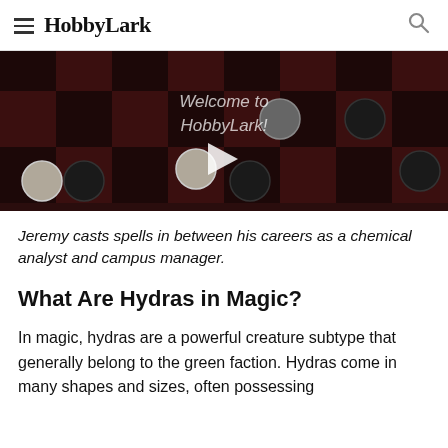HobbyLark
[Figure (screenshot): Video thumbnail showing a checkerboard with checkers pieces and 'Welcome to HobbyLark!' overlay text and a play button]
Jeremy casts spells in between his careers as a chemical analyst and campus manager.
What Are Hydras in Magic?
In magic, hydras are a powerful creature subtype that generally belong to the green faction. Hydras come in many shapes and sizes, often possessing